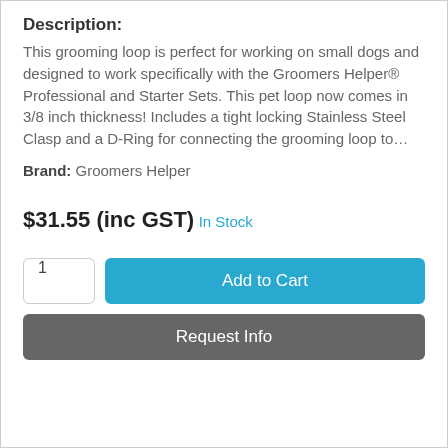Description:
This grooming loop is perfect for working on small dogs and designed to work specifically with the Groomers Helper® Professional and Starter Sets. This pet loop now comes in 3/8 inch thickness! Includes a tight locking Stainless Steel Clasp and a D-Ring for connecting the grooming loop to…
Brand: Groomers Helper
$31.55 (inc GST)
In Stock